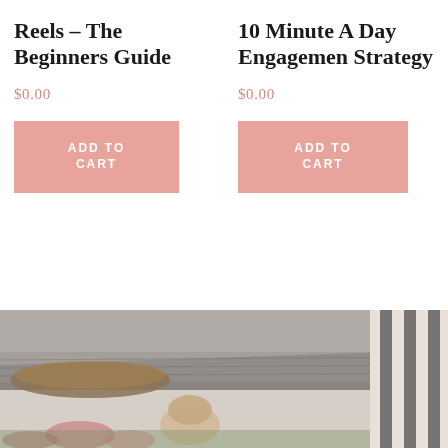Reels – The Beginners Guide
$0.00
ADD TO CART
10 Minute A Day Engagement Strategy
$0.00
ADD TO CART
[Figure (photo): Outdoor scene with a person, a thatched umbrella structure, rooftop, and garden flowers visible at the bottom of the page.]